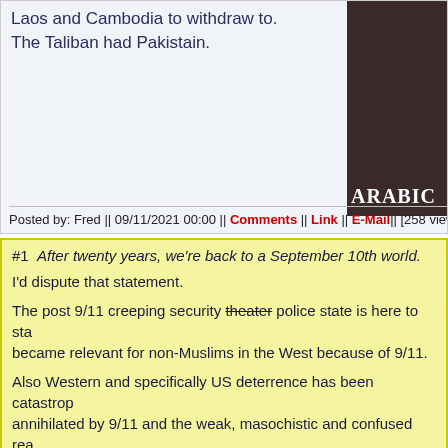Laos and Cambodia to withdraw to. The Taliban had Pakistain.
[Figure (photo): Partial image showing text 'ARABIC' on dark background, likely a book cover or advertisement]
Posted by: Fred || 09/11/2021 00:00 || Comments || Link || E-Mail|| [258 views]
#1  After twenty years, we're back to a September 10th world.
I'd dispute that statement.
The post 9/11 creeping security theater police state is here to stay. Islam became relevant for non-Muslims in the West because of 9/11.
Also Western and specifically US deterrence has been catastrophically annihilated by 9/11 and the weak, masochistic and confused reaction to it.
If 1962 the Soviets as rational actors had Pearl Harbor and the aftermath as a data point for assessing and predicting an American reaction to a serious provocation.
In 2021 and beyond the relevant precedent is 9/11 and the subsequent 20 year war that ended in a shameful defeat for the West.
A reset to a 9/10/2001 world would be eminently desirable but is not on offer.
Posted by: Elmerert Hupens2660 || 09/11/2021 1:54 Comments || Top||